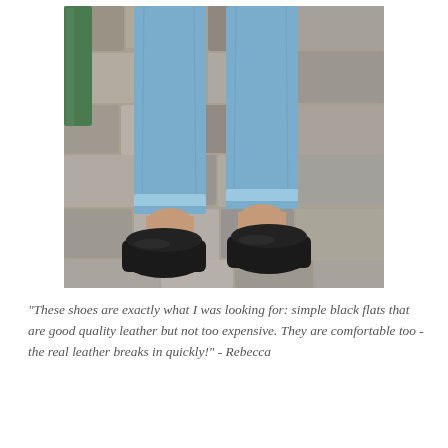[Figure (photo): Close-up photo of a person's legs wearing cropped blue jeans and black leather flat shoes, standing on cobblestone pavement. A green metal pole is visible in the upper left corner.]
“These shoes are exactly what I was looking for: simple black flats that are good quality leather but not too expensive. They are comfortable too - the real leather breaks in quickly!” - Rebecca